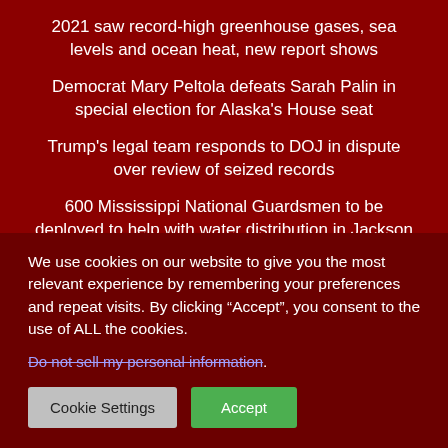2021 saw record-high greenhouse gases, sea levels and ocean heat, new report shows
Democrat Mary Peltola defeats Sarah Palin in special election for Alaska's House seat
Trump's legal team responds to DOJ in dispute over review of seized records
600 Mississippi National Guardsmen to be deployed to help with water distribution in Jackson
Jackson residents face clean water crisis — as state, local
We use cookies on our website to give you the most relevant experience by remembering your preferences and repeat visits. By clicking “Accept”, you consent to the use of ALL the cookies.
Do not sell my personal information.